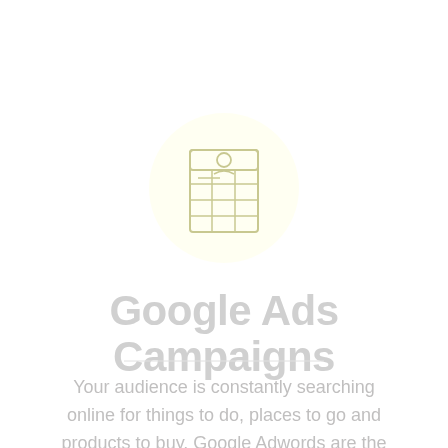[Figure (illustration): A light yellow circular background with a line-art icon depicting a document/spreadsheet with a person icon at the top and a grid below.]
Google Ads Campaigns
Your audience is constantly searching online for things to do, places to go and products to buy. Google Adwords are the best way to be visible when a person is searching for your product or service.